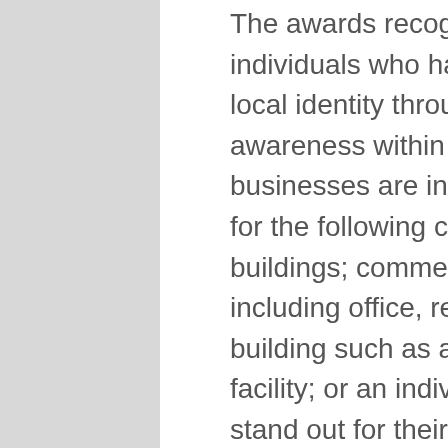The awards recognize property owners and individuals who have made strides in fostering local identity through heritage preservation and awareness within Barrie. Residents and businesses are invited to submit nominations for the following categories: residential buildings; commercial building with a business including office, restaurant or store; institutional building such as a church, school, or public facility; or an individual or group of people who stand out for their heritage contribution to the community.
Nominations for buildings with at least two of the following attributes will be considered: